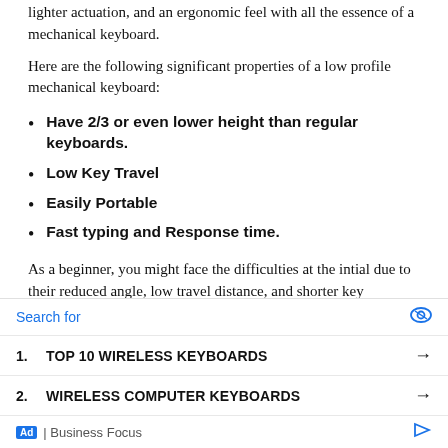lighter actuation, and an ergonomic feel with all the essence of a mechanical keyboard.
Here are the following significant properties of a low profile mechanical keyboard:
Have 2/3 or even lower height than regular keyboards.
Low Key Travel
Easily Portable
Fast typing and Response time.
As a beginner, you might face the difficulties at the intial due to their reduced angle, low travel distance, and shorter key switches, but after some usage, you will certainly used
Search for
1. TOP 10 WIRELESS KEYBOARDS →
2. WIRELESS COMPUTER KEYBOARDS →
Ad | Business Focus